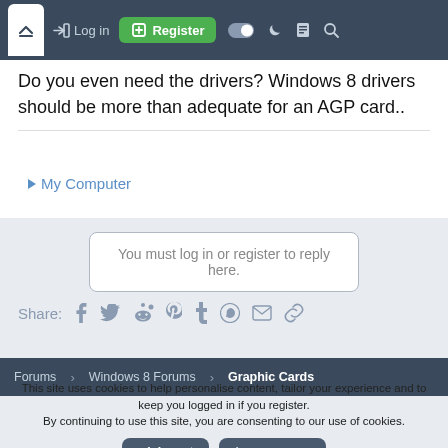Log in | Register
Do you even need the drivers? Windows 8 drivers should be more than adequate for an AGP card..
▶ My Computer
You must log in or register to reply here.
Share: (social icons)
Forums > Windows 8 Forums > Graphic Cards
This site uses cookies to help personalise content, tailor your experience and to keep you logged in if you register.
By continuing to use this site, you are consenting to our use of cookies.
Accept | Learn more...